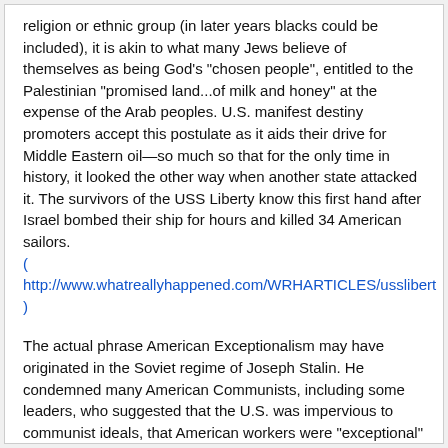religion or ethnic group (in later years blacks could be included), it is akin to what many Jews believe of themselves as being God's "chosen people", entitled to the Palestinian "promised land...of milk and honey" at the expense of the Arab peoples. U.S. manifest destiny promoters accept this postulate as it aids their drive for Middle Eastern oil—so much so that for the only time in history, it looked the other way when another state attacked it. The survivors of the USS Liberty know this first hand after Israel bombed their ship for hours and killed 34 American sailors.
( http://www.whatreallyhappened.com/WRHARTICLES/ussliberty )
The actual phrase American Exceptionalism may have originated in the Soviet regime of Joseph Stalin. He condemned many American Communists, including some leaders, who suggested that the U.S. was impervious to communist ideals, that American workers were "exceptional" because there were no rigid class distinctions, and they would not embrace a socialist revolution. With minor exceptions few workers have, before and beyond these decades. Most important of these and for